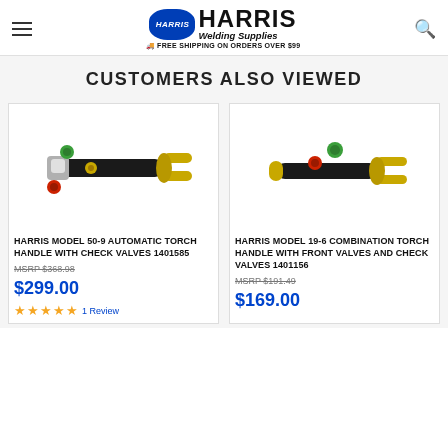HARRIS Welding Supplies — FREE SHIPPING ON ORDERS OVER $99
CUSTOMERS ALSO VIEWED
[Figure (photo): Harris Model 50-9 Automatic Torch Handle with Check Valves product photo — black torch handle with brass fittings and green/red valves]
HARRIS MODEL 50-9 AUTOMATIC TORCH HANDLE WITH CHECK VALVES 1401585
MSRP $368.98
$299.00
★★★★★ 1 Review
[Figure (photo): Harris Model 19-6 Combination Torch Handle with Front Valves and Check Valves product photo — black torch handle with gold brass fittings and colored valves]
HARRIS MODEL 19-6 COMBINATION TORCH HANDLE WITH FRONT VALVES AND CHECK VALVES 1401156
MSRP $191.49
$169.00